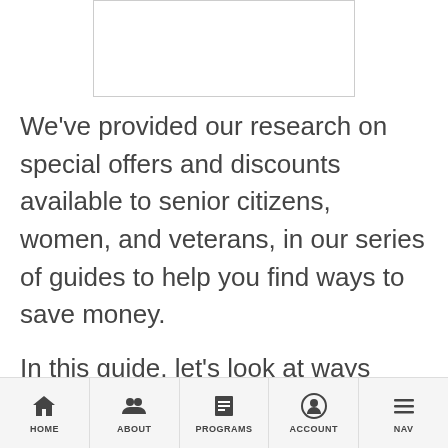[Figure (other): Image placeholder rectangle at top center of page]
We've provided our research on special offers and discounts available to senior citizens, women, and veterans, in our series of guides to help you find ways to save money.
In this guide, let's look at ways those with handicaps and
HOME   ABOUT   PROGRAMS   ACCOUNT   NAV